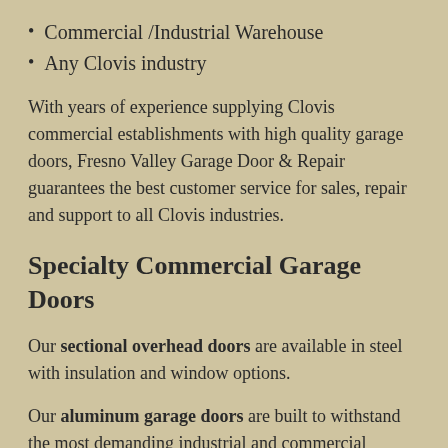Commercial /Industrial Warehouse
Any Clovis industry
With years of experience supplying Clovis commercial establishments with high quality garage doors, Fresno Valley Garage Door & Repair guarantees the best customer service for sales, repair and support to all Clovis industries.
Specialty Commercial Garage Doors
Our sectional overhead doors are available in steel with insulation and window options.
Our aluminum garage doors are built to withstand the most demanding industrial and commercial environments. Full view Aluminum doors offer style